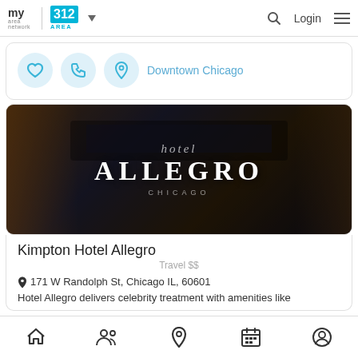my area network | 312 AREA | Login
[Figure (screenshot): Three circular icon buttons: heart (favorite), phone, and map pin location marker, with text 'Downtown Chicago' in blue]
[Figure (photo): Interior photo of Hotel Allegro Chicago bar/lobby with dark moody lighting, showing the large 'ALLEGRO' signage and 'hotel CHICAGO' text overlay]
Kimpton Hotel Allegro
Travel $$
171 W Randolph St, Chicago IL, 60601
Hotel Allegro delivers celebrity treatment with amenities like
Home | People | Location | Calendar | Profile